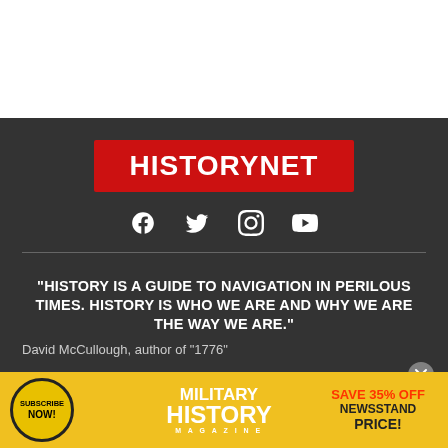[Figure (logo): HISTORYNET logo — white bold text on red rectangle background]
[Figure (infographic): Social media icons: Facebook, Twitter/X, Instagram, YouTube — white icons on dark background]
“HISTORY IS A GUIDE TO NAVIGATION IN PERILOUS TIMES. HISTORY IS WHO WE ARE AND WHY WE ARE THE WAY WE ARE.”
David McCullough, author of “1776”
HistoryNet.com is brought to you by HistoryNet LLC, the
[Figure (infographic): Advertisement banner: Subscribe Now! Military History Magazine — Save 35% Off Newsstand Price!]